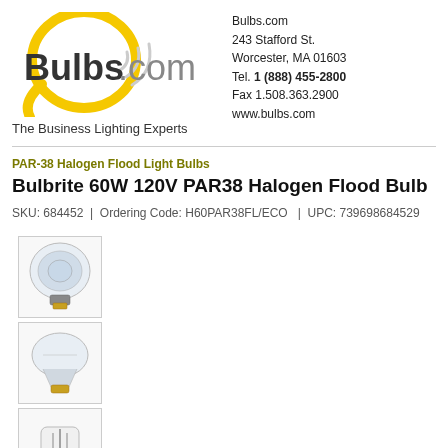[Figure (logo): Bulbs.com logo with yellow light bulb outline and bold text 'Bulbs.com']
The Business Lighting Experts
Bulbs.com
243 Stafford St.
Worcester, MA 01603
Tel. 1 (888) 455-2800
Fax 1.508.363.2900
www.bulbs.com
PAR-38 Halogen Flood Light Bulbs
Bulbrite 60W 120V PAR38 Halogen Flood Bulb
SKU: 684452 | Ordering Code: H60PAR38FL/ECO | UPC: 739698684529
[Figure (photo): Front view of PAR38 halogen flood light bulb]
[Figure (photo): Side/angled view of PAR38 halogen flood light bulb]
[Figure (photo): Bottom view of PAR38 halogen flood light bulb filament]